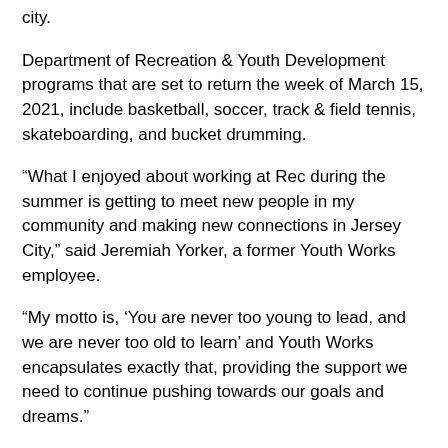city.
Department of Recreation & Youth Development programs that are set to return the week of March 15, 2021, include basketball, soccer, track & field tennis, skateboarding, and bucket drumming.
“What I enjoyed about working at Rec during the summer is getting to meet new people in my community and making new connections in Jersey City,” said Jeremiah Yorker, a former Youth Works employee.
“My motto is, ‘You are never too young to lead, and we are never too old to learn’ and Youth Works encapsulates exactly that, providing the support we need to continue pushing towards our goals and dreams.”
Summer camps will soon be offered at six locations citywide;